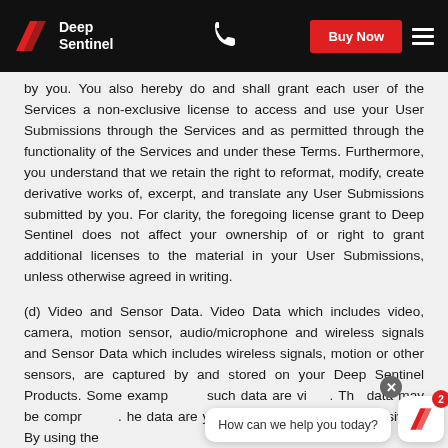Deep Sentinel — Buy Now
by you. You also hereby do and shall grant each user of the Services a non-exclusive license to access and use your User Submissions through the Services and as permitted through the functionality of the Services and under these Terms. Furthermore, you understand that we retain the right to reformat, modify, create derivative works of, excerpt, and translate any User Submissions submitted by you. For clarity, the foregoing license grant to Deep Sentinel does not affect your ownership of or right to grant additional licenses to the material in your User Submissions, unless otherwise agreed in writing.
(d) Video and Sensor Data. Video Data which includes video, camera, motion sensor, audio/microphone and wireless signals and Sensor Data which includes wireless signals, motion or other sensors, are captured by and stored on your Deep Sentinel Products. Some examples of such data are video... The data may be compressed... the data are your property solely and exclusively. By using the